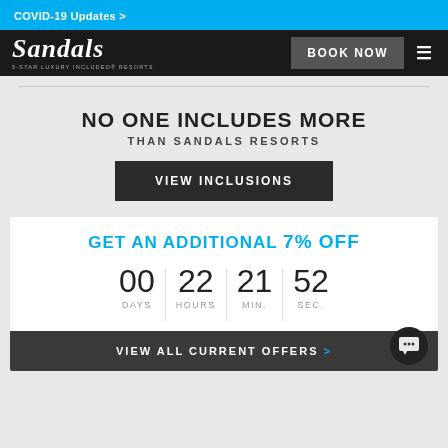COVID-19 Updates >
[Figure (logo): Sandals logo — script wordmark with tagline '5-STAR LUXURY INCLUDED RESORTS']
NO ONE INCLUDES MORE THAN SANDALS RESORTS
VIEW INCLUSIONS
GET AN ADDITIONAL 7% Off
00 DAYS  22 HOURS  21 MIN.  52 SEC.
VIEW ALL CURRENT OFFERS >